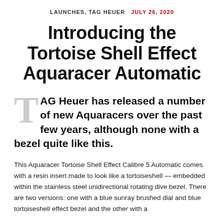LAUNCHES, TAG HEUER   JULY 26, 2020
Introducing the Tortoise Shell Effect Aquaracer Automatic
TAG Heuer has released a number of new Aquaracers over the past few years, although none with a bezel quite like this.
This Aquaracer Tortoise Shell Effect Calibre 5 Automatic comes with a resin insert made to look like a tortoiseshell — embedded within the stainless steel unidirectional rotating dive bezel. There are two versions: one with a blue sunray brushed dial and blue tortoiseshell effect bezel and the other with a